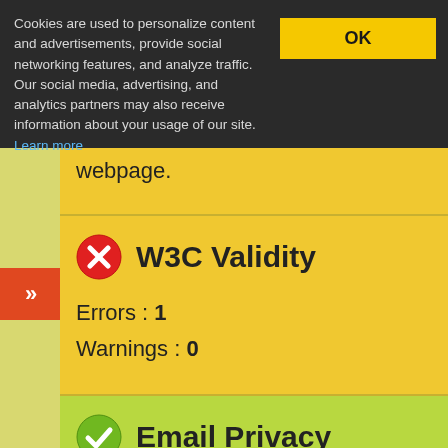Cookies are used to personalize content and advertisements, provide social networking features, and analyze traffic. Our social media, advertising, and analytics partners may also receive information about your usage of our site. Learn more
webpage.
W3C Validity
Errors : 1
Warnings : 0
Email Privacy
Awesome!, For converting your email address into image. Plain text tends email harvesting softwares to get your email address and will get